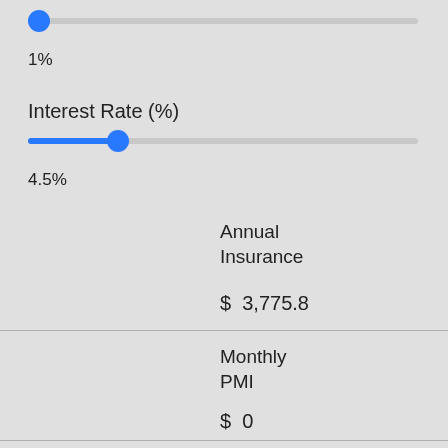[Figure (other): Slider control at position 1% (near left end), showing blue fill and thumb]
1%
Interest Rate (%)
[Figure (other): Slider control at position 4.5% (about 22% from left), showing blue fill and thumb]
4.5%
Annual Insurance
$ 3,775.8
Monthly PMI
$ 0
Monthly HOA